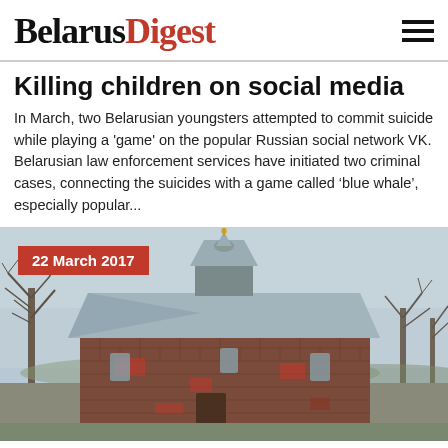BelarusDigest
Killing children on social media
In March, two Belarusian youngsters attempted to commit suicide while playing a 'game' on the popular Russian social network VK. Belarusian law enforcement services have initiated two criminal cases, connecting the suicides with a game called ‘blue whale’, especially popular...
[Figure (photo): Photograph of an old brick church building with a metal roof and a small cupola/spire, surrounded by bare winter trees. A red date badge '22 March 2017' overlays the top-left of the image.]